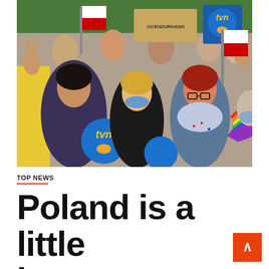[Figure (photo): Protesters at a rally holding TVN logo signs and placards, making peace signs. A woman in the foreground holds a blue TVN sign, others hold signs reading 'OCENZURHAND' and another TVN logo. Several protesters wear masks. One person holds a rainbow fan. Buildings and trees visible in background.]
TOP NEWS
Poland is a little less generous To please